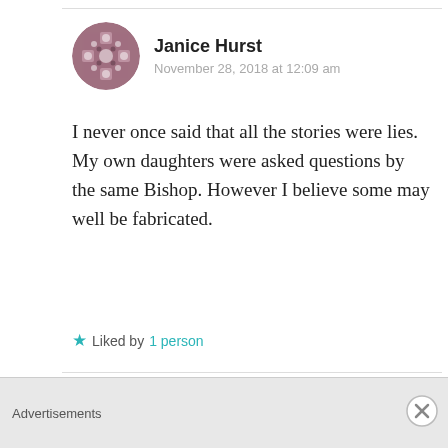Janice Hurst
November 28, 2018 at 12:09 am
I never once said that all the stories were lies. My own daughters were asked questions by the same Bishop. However I believe some may well be fabricated.
★ Liked by 1 person
#945
November 27, 2018 at 6:02 pm
Hi Here #945
Advertisements